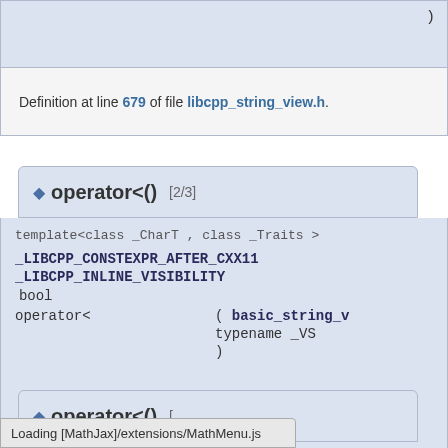)
Definition at line 679 of file libcpp_string_view.h.
◆ operator<() [2/3]
template<class _CharT , class _Traits >
_LIBCPP_CONSTEXPR_AFTER_CXX11 _LIBCPP_INLINE_VISIBILITY bool operator< ( basic_string_v... typename _VS... )
Definition at line 686 of file libcpp_string_view.h.
◆ operator<()
Loading [MathJax]/extensions/MathMenu.js